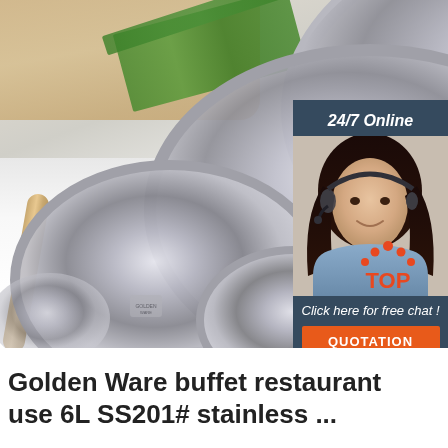[Figure (photo): Product photo of multiple stainless steel mixing bowls (Golden Ware SS201) arranged on a white surface with green onions, a tomato, cutting board, and wooden rolling pin in background. An overlay panel on the right shows '24/7 Online' with a customer service agent photo, 'Click here for free chat!' text, and an orange 'QUOTATION' button. A red and orange 'TOP' logo appears at bottom right of the image area.]
Golden Ware buffet restaurant use 6L SS201# stainless ...